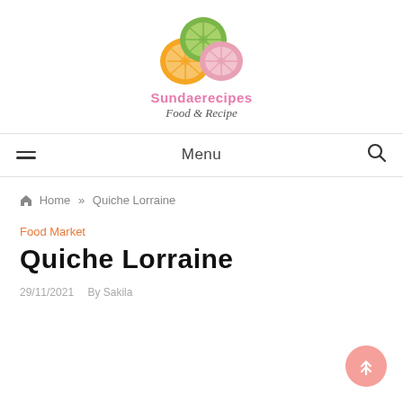[Figure (logo): Sundaerecipes logo with three overlapping citrus slice circles in green, orange, and pink, with site name 'Sundaerecipes' in pink and tagline 'Food & Recipe' in italic grey below]
Menu
🏠 Home » Quiche Lorraine
Food Market
Quiche Lorraine
29/11/2021   By Sakila